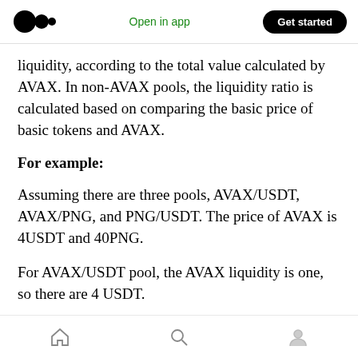Open in app  Get started
liquidity, according to the total value calculated by AVAX. In non-AVAX pools, the liquidity ratio is calculated based on comparing the basic price of basic tokens and AVAX.
For example:
Assuming there are three pools, AVAX/USDT, AVAX/PNG, and PNG/USDT. The price of AVAX is 4USDT and 40PNG.
For AVAX/USDT pool, the AVAX liquidity is one, so there are 4 USDT.
Home  Search  Profile